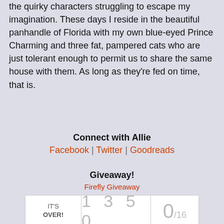the quirky characters struggling to escape my imagination. These days I reside in the beautiful panhandle of Florida with my own blue-eyed Prince Charming and three fat, pampered cats who are just tolerant enough to permit us to share the same house with them. As long as they're fed on time, that is.
Connect with Allie
Facebook | Twitter | Goodreads
Giveaway!
[Figure (other): Firefly Giveaway image placeholder]
| IT'S OVER! | 1 3 5 0 | 0/16 |
Swag pack including glitter hoodie (winner's choice of size),